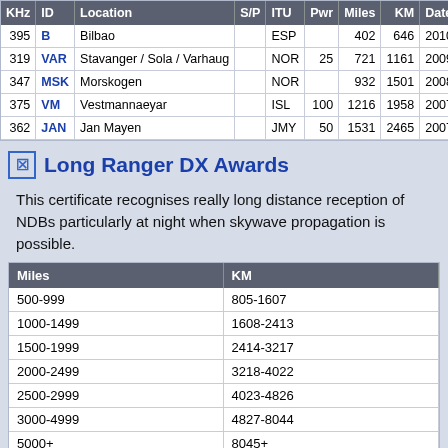| KHz | ID | Location | S/P | ITU | Pwr | Miles | KM | Date |
| --- | --- | --- | --- | --- | --- | --- | --- | --- |
| 395 | B | Bilbao |  | ESP |  | 402 | 646 | 2010-0 |
| 319 | VAR | Stavanger / Sola / Varhaug |  | NOR | 25 | 721 | 1161 | 2009- |
| 347 | MSK | Morskogen |  | NOR |  | 932 | 1501 | 2008- |
| 375 | VM | Vestmannaeyar |  | ISL | 100 | 1216 | 1958 | 2007-0 |
| 362 | JAN | Jan Mayen |  | JMY | 50 | 1531 | 2465 | 2007-0 |
Long Ranger DX Awards
This certificate recognises really long distance reception of NDBs particularly at night when skywave propagation is possible.
| Miles | KM |
| --- | --- |
| 500-999 | 805-1607 |
| 1000-1499 | 1608-2413 |
| 1500-1999 | 2414-3217 |
| 2000-2499 | 3218-4022 |
| 2500-2999 | 4023-4826 |
| 3000-4999 | 4827-8044 |
| 5000+ | 8045+ |